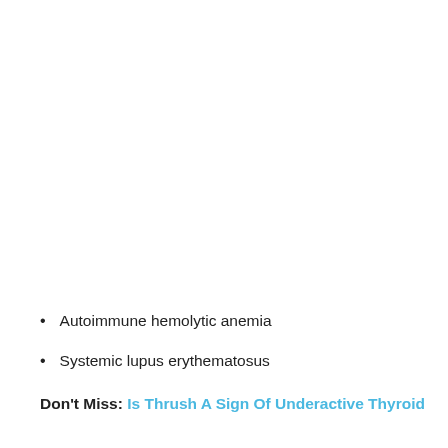Autoimmune hemolytic anemia
Systemic lupus erythematosus
Don't Miss: Is Thrush A Sign Of Underactive Thyroid